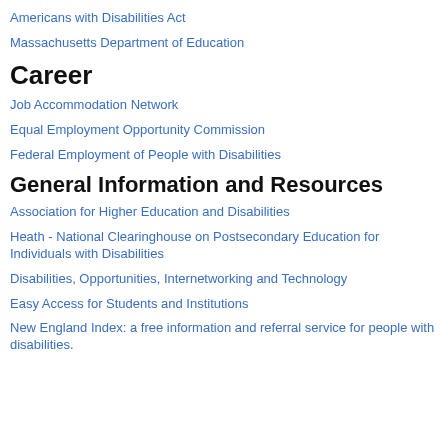Americans with Disabilities Act
Massachusetts Department of Education
Career
Job Accommodation Network
Equal Employment Opportunity Commission
Federal Employment of People with Disabilities
General Information and Resources
Association for Higher Education and Disabilities
Heath - National Clearinghouse on Postsecondary Education for Individuals with Disabilities
Disabilities, Opportunities, Internetworking and Technology
Easy Access for Students and Institutions
New England Index: a free information and referral service for people with disabilities.